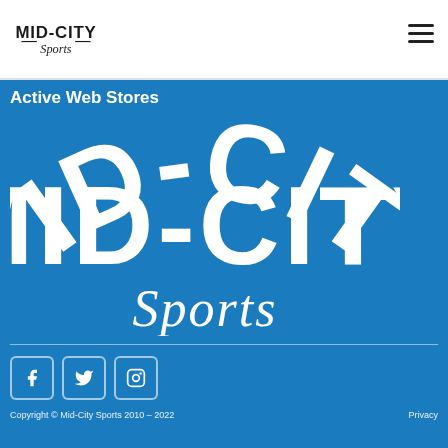Mid-City Sports logo and navigation
Active Web Stores
[Figure (logo): Mid-City Sports large white logo on blue background, collegiate style text reading MID-CITY with Sports in script below]
[Figure (infographic): Social media icons: Facebook (f), Twitter (bird), Instagram (camera) in rounded square buttons]
Copyright © Mid-City Sports 2010 – 2022    Privacy